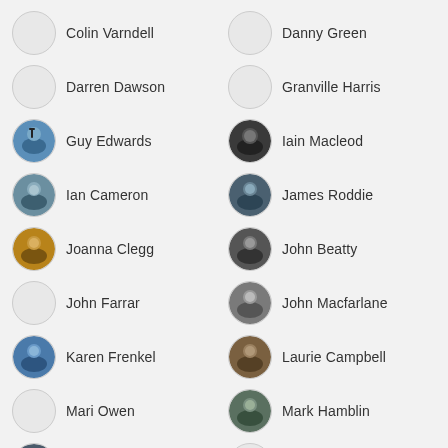Colin Varndell
Danny Green
Darren Dawson
Granville Harris
Guy Edwards
Iain Macleod
Ian Cameron
James Roddie
Joanna Clegg
John Beatty
John Farrar
John Macfarlane
Karen Frenkel
Laurie Campbell
Mari Owen
Mark Hamblin
Mike Prince
Neil McIntyre